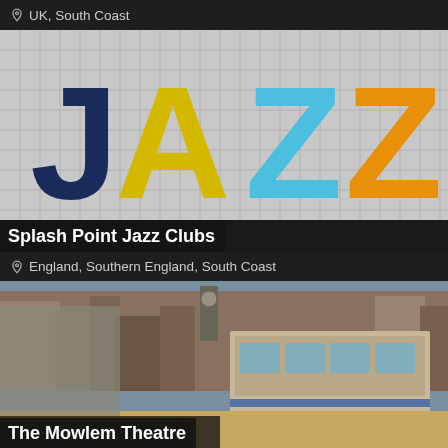UK, South Coast
[Figure (logo): JAZZ logo with colorful block letters on a grey grid background]
Splash Point Jazz Clubs
England, Southern England, South Coast
[Figure (photo): Aerial/ground-level photo of The Mowlem Theatre building on the seafront with beach and town in background]
The Mowlem Theatre
UK, South Coast
[Figure (photo): Partial photo showing a stage with blue lighting at the bottom of the page]